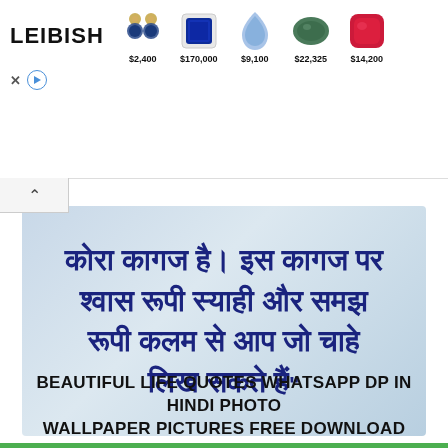[Figure (screenshot): Leibish advertisement banner showing gemstone jewelry items with prices: earrings $2,400, blue gemstone $170,000, blue teardrop $9,100, green oval $22,325, red cushion $14,200]
[Figure (photo): Hindi language quote on a light blue gradient background in dark blue bold Devanagari script: कोरा कागज है। इस कागज पर श्वास रूपी स्याही और समझ रूपी कलम से आप जो चाहे लिख सकते हैं]
BEAUTIFUL LIFE QUOTES WHATSAPP DP IN HINDI PHOTO WALLPAPER PICTURES FREE DOWNLOAD